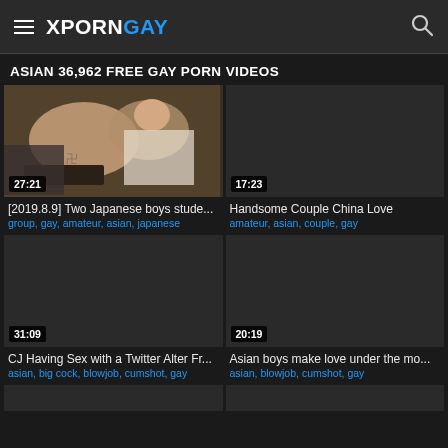XPORNGAY
ASIAN 36,962 FREE GAY PORN VIDEOS
[Figure (screenshot): Video thumbnail showing two Japanese men, duration badge 27:21]
[2019.8.9] Two Japanese boys stude...
group, gay, amateur, asian, japanese
[Figure (screenshot): Video thumbnail dark/loading, duration badge 17:23]
Handsome Couple China Love
amateur, asian, couple, gay
[Figure (screenshot): Video thumbnail dark/loading, duration badge 31:09]
CJ Having Sex with a Twitter Alter Fr...
asian, big cock, blowjob, cumshot, gay
[Figure (screenshot): Video thumbnail dark/loading, duration badge 20:19]
Asian boys make love under the mo...
asian, blowjob, cumshot, gay